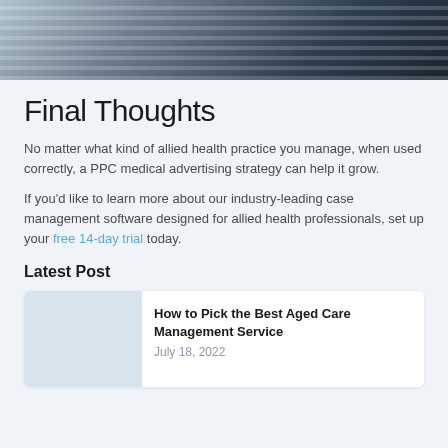[Figure (photo): Photograph of a person sitting on a dark couch near a window with blinds, shot from above/behind, dark tones]
Final Thoughts
No matter what kind of allied health practice you manage, when used correctly, a PPC medical advertising strategy can help it grow.
If you'd like to learn more about our industry-leading case management software designed for allied health professionals, set up your free 14-day trial today.
Latest Post
How to Pick the Best Aged Care Management Service
July 18, 2022